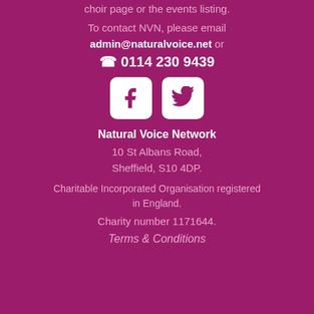choir page or the events listing.
To contact NVN, please email admin@naturalvoice.net or
☏ 0114 230 9439
[Figure (illustration): Facebook and Twitter social media icons in white rounded rectangles on purple background]
Natural Voice Network
10 St Albans Road,
Sheffield, S10 4DP.
Charitable Incorporated Organisation registered in England.
Charity number 1171644.
Terms & Conditions